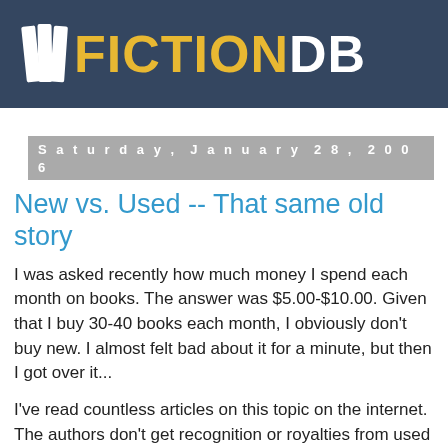[Figure (logo): FictionDB logo with book icon on dark blue/slate background. FICTION in gold/yellow bold text, DB in white bold text.]
Saturday, January 28, 2006
New vs. Used -- That same old story
I was asked recently how much money I spend each month on books. The answer was $5.00-$10.00. Given that I buy 30-40 books each month, I obviously don't buy new. I almost felt bad about it for a minute, but then I got over it...
I've read countless articles on this topic on the internet. The authors don't get recognition or royalties from used books, blah, blah, blah. If the publishing industry's royalty model is broken, is it my responsibility as a reader to fix it? Absolutely not! You don't hear GM or Honda complaining that consumers are not buying their products new. They've already factored that into their business model. It seems to